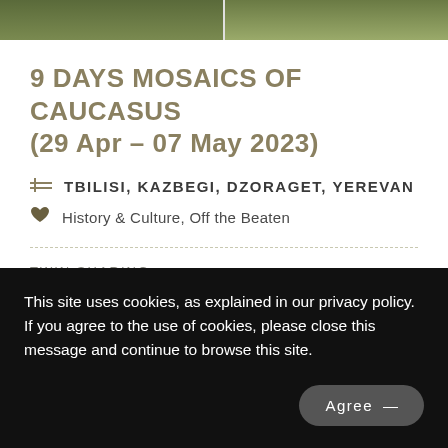[Figure (photo): Top image strip showing green landscape/scenery split into two panels]
9 DAYS MOSAICS OF CAUCASUS (29 Apr – 07 May 2023)
TBILISI, KAZBEGI, DZORAGET, YEREVAN
History & Culture, Off the Beaten
TWIN SHARING
HKD 49,880
Per Person
This site uses cookies, as explained in our privacy policy. If you agree to the use of cookies, please close this message and continue to browse this site.
Agree —